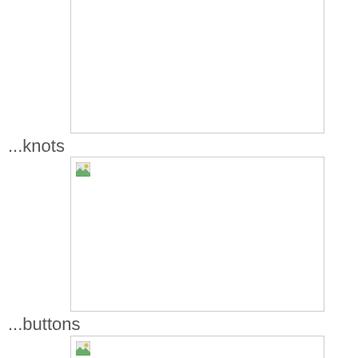[Figure (illustration): Blank image placeholder box (partially visible at top of page)]
...knots
[Figure (illustration): Image placeholder box with broken image icon in top-left corner]
...buttons
[Figure (illustration): Image placeholder box (partially visible at bottom of page) with broken image icon]